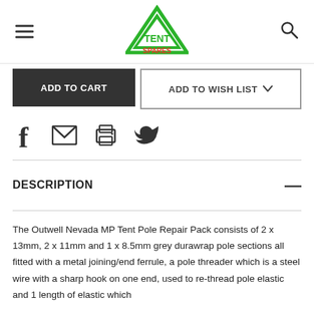Tent Spares — logo header with hamburger menu and search icon
ADD TO CART
ADD TO WISH LIST
[Figure (infographic): Social sharing icons: Facebook, Email, Print, Twitter]
DESCRIPTION
The Outwell Nevada MP Tent Pole Repair Pack consists of 2 x 13mm, 2 x 11mm and 1 x 8.5mm grey durawrap pole sections all fitted with a metal joining/end ferrule, a pole threader which is a steel wire with a sharp hook on one end, used to re-thread pole elastic and 1 length of elastic which